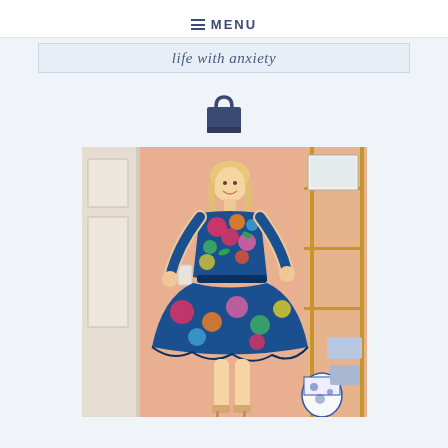≡ MENU
life with anxiety
[Figure (photo): Shopping bag icon in dark navy blue]
[Figure (photo): Woman smiling in a colorful floral dress standing in a room with peach/salmon walls, a white paneled door on the left, a gold/brass shelving unit with framed art on the right, and a blue and white decorative ginger jar vase at the bottom right]